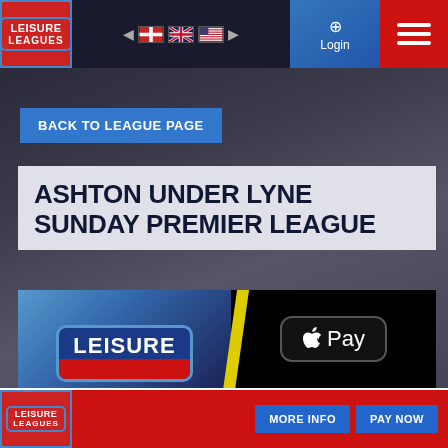[Figure (screenshot): Leisure Leagues website header with logo, flag navigation, login button, and hamburger menu]
BACK TO LEAGUE PAGE
ASHTON UNDER LYNE SUNDAY PREMIER LEAGUE
[Figure (logo): Leisure Leagues branded banner with LEISURE badge on blue background with yellow slash divider, and Apple Pay logo on black background]
MORE INFO  PAY NOW